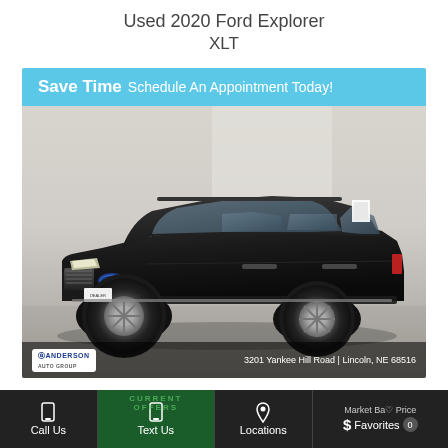Used 2020 Ford Explorer XLT
[Figure (photo): Black 2020 Ford Explorer XLT SUV parked in a dealership photo studio, shown from front-right three-quarter angle. Blue banner at top reads 'Save Time Schedule An Appointment Today!' Dealership info at bottom: Anderson Auto Group, 3201 Yankee Hill Road, Lincoln, NE 68516.]
Local Trade, No Accidents on Record, Back-Up Camera, Blind Spot Monitoring, Bluetooth, Sync My To...